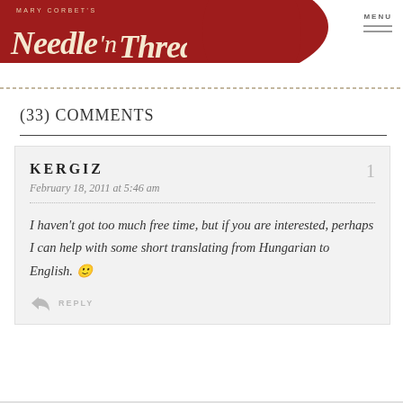Mary Corbet's Needle 'n Thread
(33) COMMENTS
KERGIZ
February 18, 2011 at 5:46 am
I haven't got too much free time, but if you are interested, perhaps I can help with some short translating from Hungarian to English.
REPLY